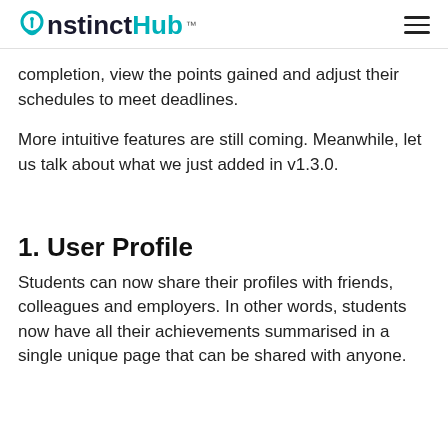InstinctHub™
completion, view the points gained and adjust their schedules to meet deadlines.
More intuitive features are still coming. Meanwhile, let us talk about what we just added in v1.3.0.
1. User Profile
Students can now share their profiles with friends, colleagues and employers. In other words, students now have all their achievements summarised in a single unique page that can be shared with anyone.